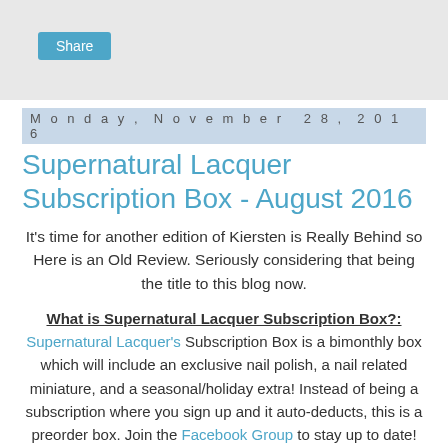Share
Monday, November 28, 2016
Supernatural Lacquer Subscription Box - August 2016
It's time for another edition of Kiersten is Really Behind so Here is an Old Review. Seriously considering that being the title to this blog now.
What is Supernatural Lacquer Subscription Box?:
Supernatural Lacquer's Subscription Box is a bimonthly box which will include an exclusive nail polish, a nail related miniature, and a seasonal/holiday extra! Instead of being a subscription where you sign up and it auto-deducts, this is a preorder box. Join the Facebook Group to stay up to date!
How Much is Supernatural Lacquer Subscription Box?:
The box is $16 plus shipping to the US, it's more for